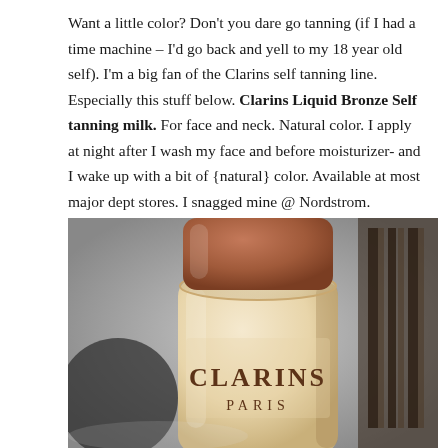Want a little color? Don't you dare go tanning (if I had a time machine – I'd go back and yell to my 18 year old self). I'm a big fan of the Clarins self tanning line. Especially this stuff below. Clarins Liquid Bronze Self tanning milk. For face and neck. Natural color. I apply at night after I wash my face and before moisturizer- and I wake up with a bit of {natural} color. Available at most major dept stores. I snagged mine @ Nordstrom.
[Figure (photo): Close-up photo of a Clarins Paris self-tanning product bottle with a cream/beige body and brown/terracotta cap, showing the CLARINS PARIS label on the bottle]